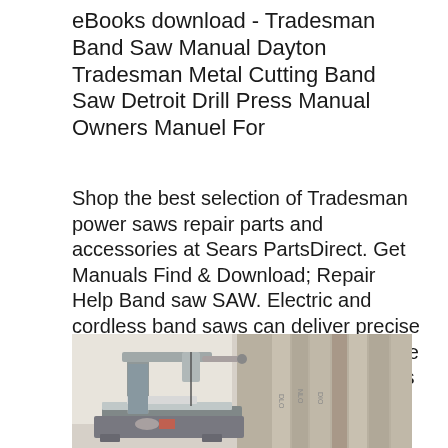eBooks download - Tradesman Band Saw Manual Dayton Tradesman Metal Cutting Band Saw Detroit Drill Press Manual Owners Manuel For
Shop the best selection of Tradesman power saws repair parts and accessories at Sears PartsDirect. Get Manuals Find & Download; Repair Help Band saw SAW. Electric and cordless band saws can deliver precise cuts through a variety of materials. See Grainger for the band saw accessories that you need.
[Figure (photo): Photograph of a band saw machine on a workbench, with books or manuals stacked in the background.]